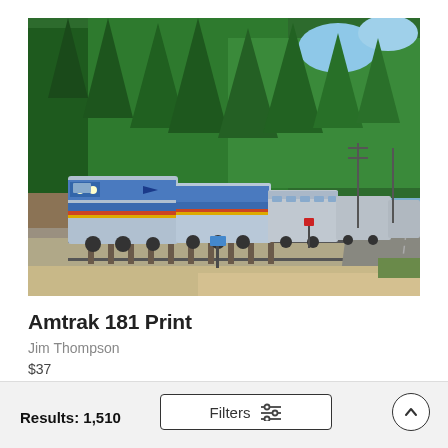[Figure (photo): An Amtrak passenger train with blue and silver locomotives traveling through a forested area with tall green conifer trees in the background. The train is on a track with gravel ballast, and a road is visible to the right. Photo by Jim Thompson.]
Amtrak 181 Print
Jim Thompson
$37
Results: 1,510
Filters